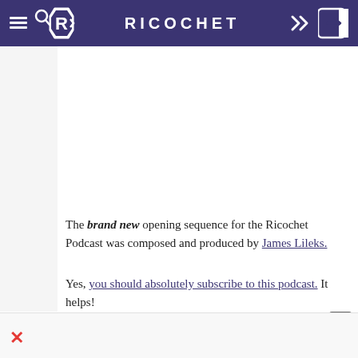RICOCHET
The brand new opening sequence for the Ricochet Podcast was composed and produced by James Lileks.
Yes, you should absolutely subscribe to this podcast. It helps!